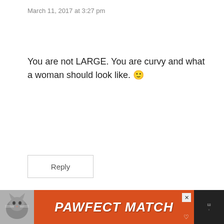March 11, 2017 at 3:27 pm
You are not LARGE. You are curvy and what a woman should look like. 🙂
Reply
Pamela Lutrell says:
March 12, 2017 at 12:53 pm
Thank you for your sweet encouragement!
Reply
[Figure (infographic): Orange advertisement banner for 'PAWFECT MATCH' featuring a cat photo on the left and the text in white italic bold font on an orange background, with a close button and a small logo on the right]